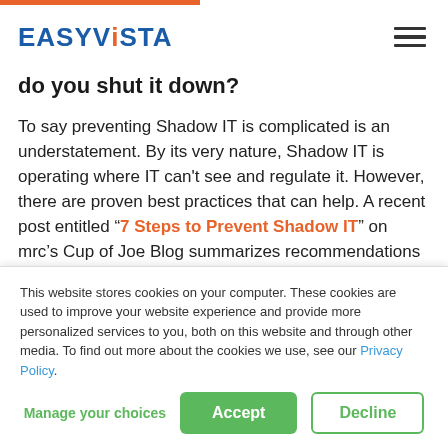EASYViSTA
do you shut it down?
To say preventing Shadow IT is complicated is an understatement. By its very nature, Shadow IT is operating where IT can't see and regulate it. However, there are proven best practices that can help. A recent post entitled “7 Steps to Prevent Shadow IT” on mrc’s Cup of Joe Blog summarizes recommendations from leading experts, including
This website stores cookies on your computer. These cookies are used to improve your website experience and provide more personalized services to you, both on this website and through other media. To find out more about the cookies we use, see our Privacy Policy.
Manage your choices | Accept | Decline